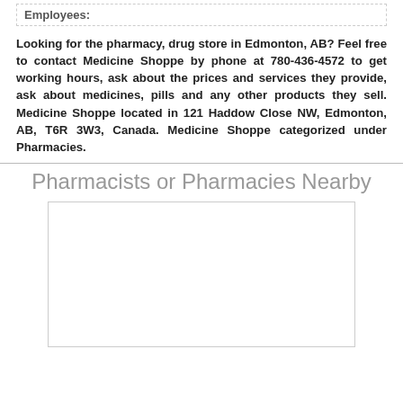Employees:
Looking for the pharmacy, drug store in Edmonton, AB? Feel free to contact Medicine Shoppe by phone at 780-436-4572 to get working hours, ask about the prices and services they provide, ask about medicines, pills and any other products they sell. Medicine Shoppe located in 121 Haddow Close NW, Edmonton, AB, T6R 3W3, Canada. Medicine Shoppe categorized under Pharmacies.
Pharmacists or Pharmacies Nearby
[Figure (map): Map area placeholder showing nearby pharmacists or pharmacies]